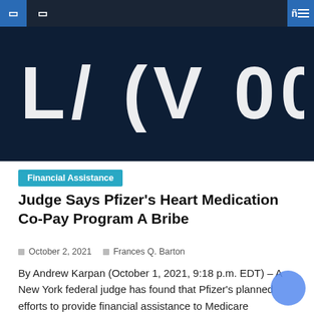[Figure (screenshot): Dark navy background hero image with large white stylized text/logo partially visible at top]
Financial Assistance
Judge Says Pfizer's Heart Medication Co-Pay Program A Bribe
October 2, 2021   Frances Q. Barton
By Andrew Karpan (October 1, 2021, 9:18 p.m. EDT) – A New York federal judge has found that Pfizer's planned efforts to provide financial assistance to Medicare beneficiaries for an expensive drug that treats fatal heart disease are in violation an anti-recoil law. In a ruling Thursday night, U.S. District